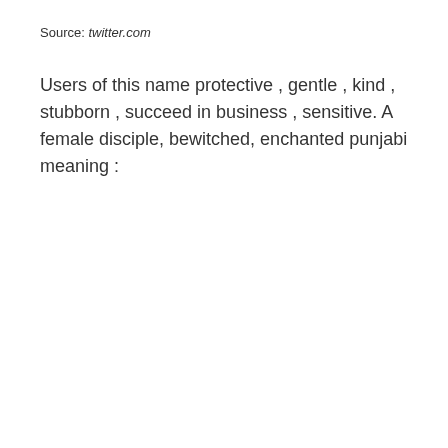Source: twitter.com
Users of this name protective , gentle , kind , stubborn , succeed in business , sensitive. A female disciple, bewitched, enchanted punjabi meaning :